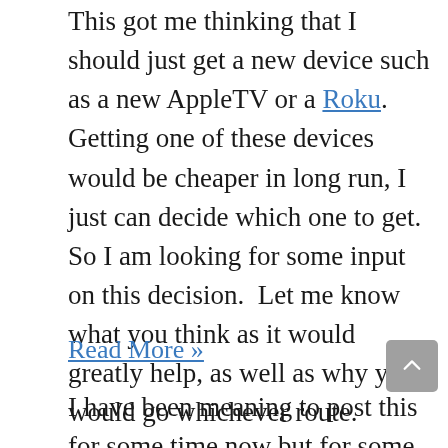This got me thinking that I should just get a new device such as a new AppleTV or a Roku. Getting one of these devices would be cheaper in long run, I just can decide which one to get. So I am looking for some input on this decision. Let me know what you think as it would greatly help, as well as why you would go whichever route.
Read More »
I have been meaning to post this for some time now but for some odd reason, it has